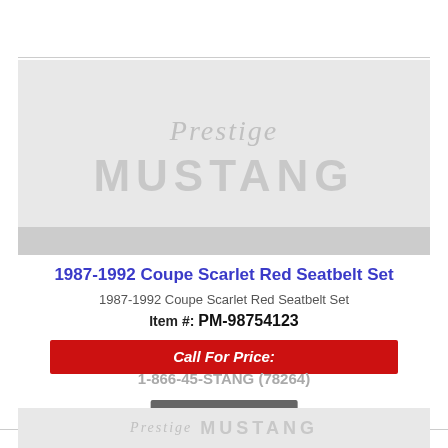[Figure (logo): Prestige Mustang logo on gray background with decorative script 'Prestige' text and bold 'MUSTANG' block letters in light gray]
1987-1992 Coupe Scarlet Red Seatbelt Set
1987-1992 Coupe Scarlet Red Seatbelt Set
Item #: PM-98754123
Call For Price:
1-866-45-STANG (78264)
See Details
[Figure (logo): Prestige Mustang logo partially visible at bottom of page]